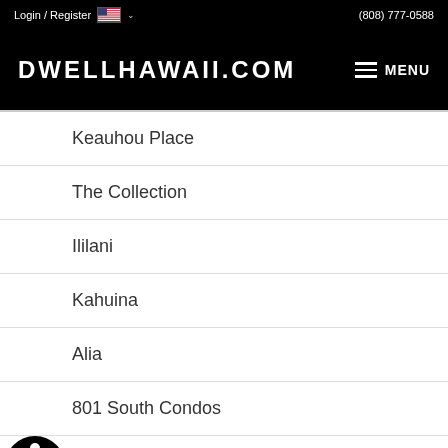Login / Register  (808) 777-0588
DWELLHAWAII.COM
Keauhou Place
The Collection
Ililani
Kahuina
Alia
801 South Condos
Symphony